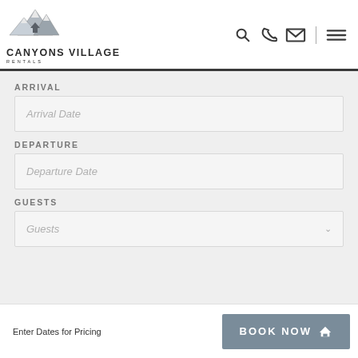[Figure (logo): Canyons Village Rentals logo with mountain illustration]
ARRIVAL
Arrival Date
DEPARTURE
Departure Date
GUESTS
Guests
Enter Dates for Pricing
BOOK NOW